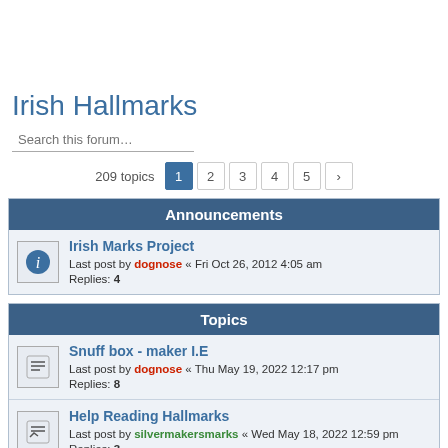Irish Hallmarks
Search this forum…
209 topics  1  2  3  4  5  >
Announcements
Irish Marks Project
Last post by dognose « Fri Oct 26, 2012 4:05 am
Replies: 4
Topics
Snuff box - maker I.E
Last post by dognose « Thu May 19, 2022 12:17 pm
Replies: 8
Help Reading Hallmarks
Last post by silvermakersmarks « Wed May 18, 2022 12:59 pm
Replies: 3
Persian? Indian? Turkey? where could it be from
Last post by Ag999 « Tue Oct 05, 2021 6:15 pm
Replies: 4
Interesting and unknown silver mark